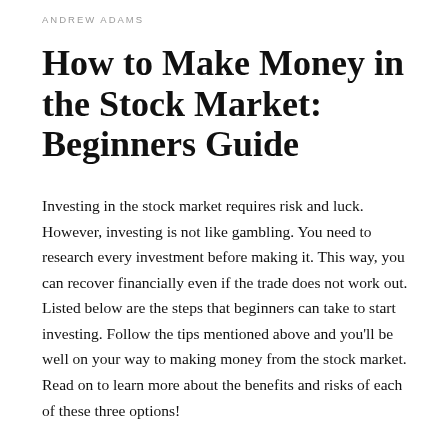ANDREW ADAMS
How to Make Money in the Stock Market: Beginners Guide
Investing in the stock market requires risk and luck. However, investing is not like gambling. You need to research every investment before making it. This way, you can recover financially even if the trade does not work out. Listed below are the steps that beginners can take to start investing. Follow the tips mentioned above and you'll be well on your way to making money from the stock market. Read on to learn more about the benefits and risks of each of these three options!
Beginner investor steps